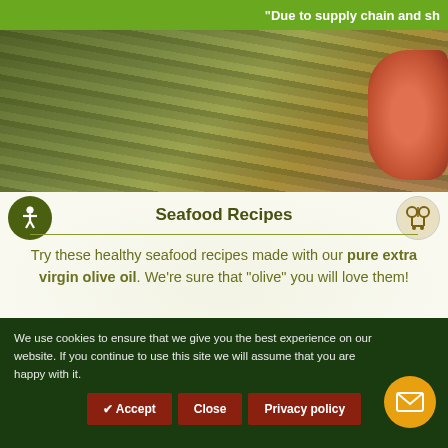"Due to supply chain and sh
[Figure (photo): Close-up photo of seaweed/sushi food items with green textured material and orange/pink seafood in the background]
Seafood Recipes
Try these healthy seafood recipes made with our pure extra virgin olive oil. We're sure that “olive” you will love them!
[Figure (photo): Close-up photo of pasta dish with herbs garnish on a white plate, prepared with olive oil]
We use cookies to ensure that we give you the best experience on our website. If you continue to use this site we will assume that you are happy with it.
✔ Accept  Close  Privacy policy